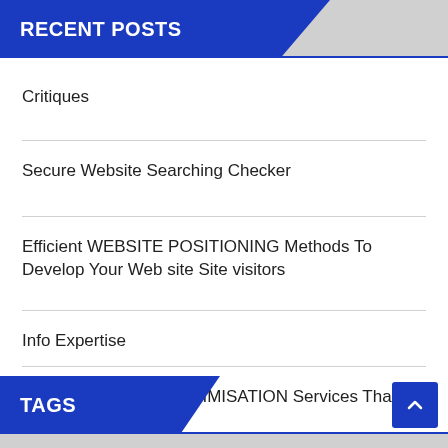RECENT POSTS
Critiques
Secure Website Searching Checker
Efficient WEBSITE POSITIONING Methods To Develop Your Web site Site visitors
Info Expertise
SEARCH ENGINE OPTIMISATION Services That means
TAGS